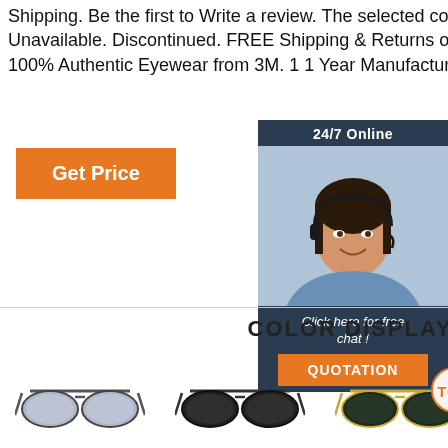Shipping. Be the first to Write a review. The selected configuration is Unavailable. Discontinued. FREE Shipping & Returns on all orders. 100% Authentic Eyewear from 3M. 1 1 Year Manufacturer's Warranty
[Figure (other): Orange 'Get Price' button]
[Figure (other): 24/7 Online chat panel with female agent photo wearing headset, 'Click here for free chat!' text and orange QUOTATION button]
COLOR DISPLAY
[Figure (other): Three aviator sunglasses in different colors: D10 Semigloss dull black, C19 Titanium black, C60 Bright light gold. TOP badge on third item.]
D10 / Semigloss dull black   C19 / Titanium black   C60 / Bright light gold